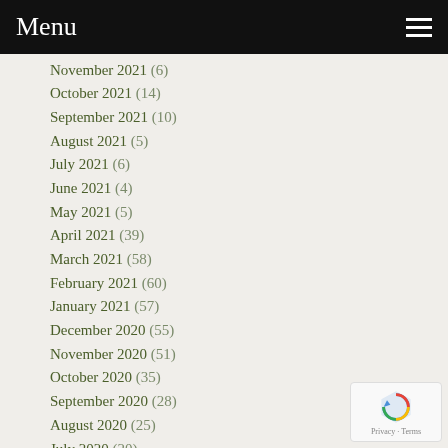Menu
November 2021 (6)
October 2021 (14)
September 2021 (10)
August 2021 (5)
July 2021 (6)
June 2021 (4)
May 2021 (5)
April 2021 (39)
March 2021 (58)
February 2021 (60)
January 2021 (57)
December 2020 (55)
November 2020 (51)
October 2020 (35)
September 2020 (28)
August 2020 (25)
July 2020 (20)
June 2020 (17)